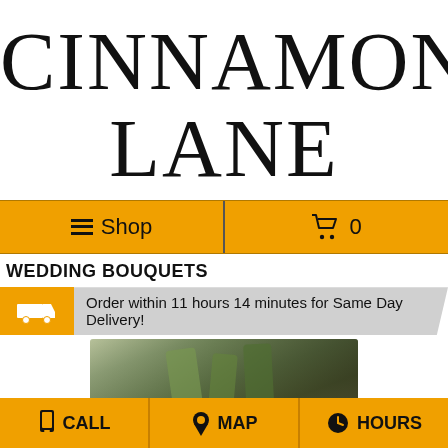CINNAMON LANE
☰ Shop   🛒 0
WEDDING BOUQUETS
Order within 11 hours 14 minutes for Same Day Delivery!
[Figure (photo): Product image showing green/botanical content, partially visible]
CALL   MAP   HOURS